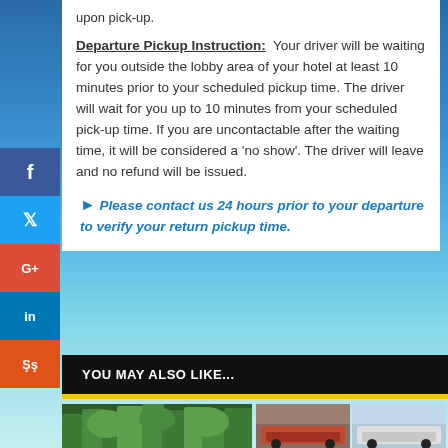upon pick-up.
Departure Pickup Instruction: Your driver will be waiting for you outside the lobby area of your hotel at least 10 minutes prior to your scheduled pickup time. The driver will wait for you up to 10 minutes from your scheduled pick-up time. If you are uncontactable after the waiting time, it will be considered a 'no show'. The driver will leave and no refund will be issued.
Please contact us 24 hours prior to your departure to verify your return pickup time.
YOU MAY ALSO LIKE...
[Figure (photo): Forest/jungle scene thumbnail]
[Figure (photo): Two car thumbnails side by side - red car and white car]